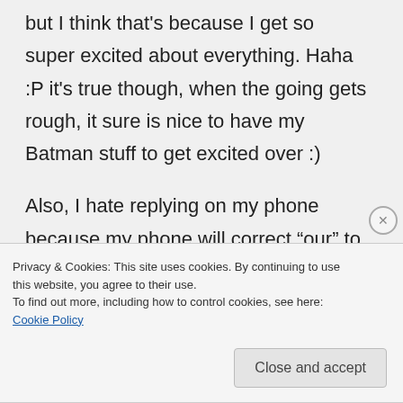but I think that's because I get so super excited about everything. Haha :P it's true though, when the going gets rough, it sure is nice to have my Batman stuff to get excited over :)
Also, I hate replying on my phone because my phone will correct “our” to “out” as shown in my previous comment. Grrrrr.
Privacy & Cookies: This site uses cookies. By continuing to use this website, you agree to their use.
To find out more, including how to control cookies, see here: Cookie Policy